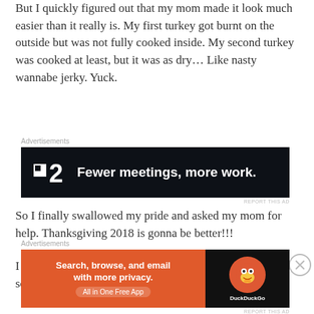But I quickly figured out that my mom made it look much easier than it really is. My first turkey got burnt on the outside but was not fully cooked inside. My second turkey was cooked at least, but it was as dry… Like nasty wannabe jerky. Yuck.
[Figure (other): Advertisement banner for P2 with text 'Fewer meetings, more work.' on dark background]
So I finally swallowed my pride and asked my mom for help. Thanksgiving 2018 is gonna be better!!!
I told her that nobody made turkey like her and I needed some help.
[Figure (other): Advertisement banner for DuckDuckGo: 'Search, browse, and email with more privacy. All in One Free App']